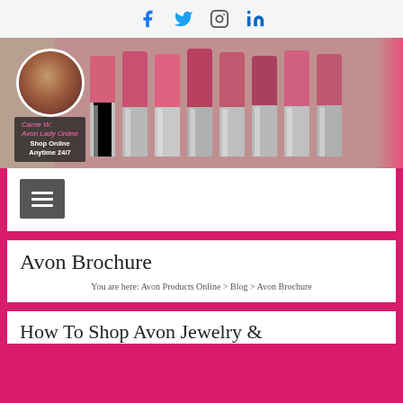Social media icons: Facebook, Twitter, Instagram, LinkedIn
[Figure (photo): Hero image showing a row of Avon lipsticks in shades of pink and red with silver cases, with a circular avatar of Carrie W. (Avon Lady Online) overlaid on the left side with text 'Shop Online Anytime 24/7']
[Figure (other): Hamburger menu button (dark gray square with three horizontal white lines)]
Avon Brochure
You are here: Avon Products Online > Blog > Avon Brochure
How To Shop Avon Jewelry &